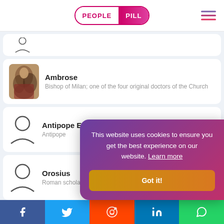PEOPLE PILL
[Figure (screenshot): Partially visible person row at top, cut off]
Ambrose — Bishop of Milan; one of the four original doctors of the Church
Antipope Eulalius — Antipope
Orosius — Roman scholar
Anicia Fal... — 5th-century R...
Fulgentius — Bishop of Rus...
This website uses cookies to ensure you get the best experience on our website. Learn more
Facebook Twitter Reddit LinkedIn WhatsApp